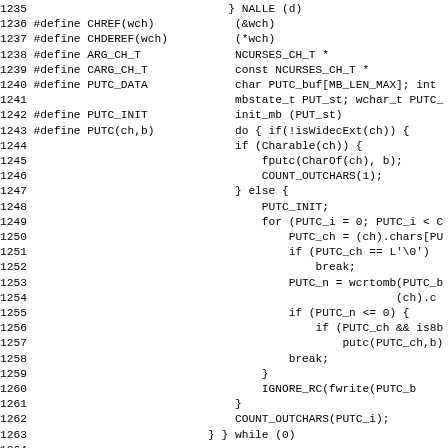[Figure (screenshot): Source code listing showing C preprocessor #define macros for CHREF, CHDEREF, ARG_CH_T, CARG_CH_T, PUTC_DATA, PUTC_INIT, PUTC macro body, BLANK, ZEROS, and TSBLANK with line numbers 1235-1267]